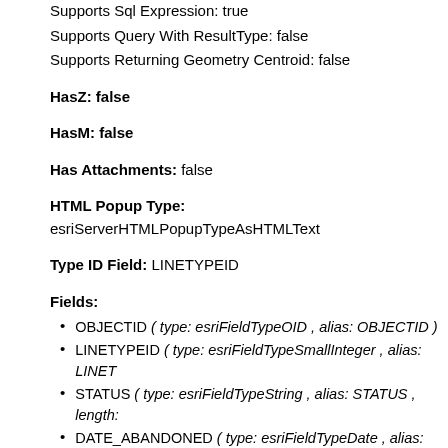Supports Sql Expression: true
Supports Query With ResultType: false
Supports Returning Geometry Centroid: false
HasZ: false
HasM: false
Has Attachments: false
HTML Popup Type: esriServerHTMLPopupTypeAsHTMLText
Type ID Field: LINETYPEID
Fields:
OBJECTID ( type: esriFieldTypeOID , alias: OBJECTID )
LINETYPEID ( type: esriFieldTypeSmallInteger , alias: LINETYPEID )
STATUS ( type: esriFieldTypeString , alias: STATUS , length: ... )
DATE_ABANDONED ( type: esriFieldTypeDate , alias: DATE_ABANDONED )
ACCURACY ( type: esriFieldTypeInteger , alias: Accuracy , Coded Values: [1: Sub-Inch Accuracy: Survey Grade] , [2: Sub-Meter Accuracy: GIS Grade] )
SHAPE ( type: esriFieldTypeGeometry , alias: SHAPE )
Types:
ID: 9